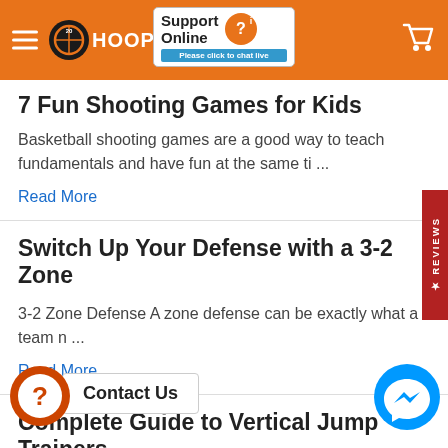HoopsKing - Support Online - Please click to chat live
7 Fun Shooting Games for Kids
Basketball shooting games are a good way to teach fundamentals and have fun at the same ti ...
Read More
Switch Up Your Defense with a 3-2 Zone
3-2 Zone Defense A zone defense can be exactly what a team n ...
Read More
Complete Guide to Vertical Jump Trainers
Read More